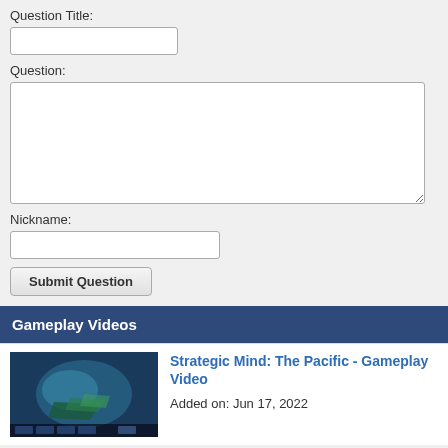Question Title:
Question:
Nickname:
Submit Question
Gameplay Videos
Strategic Mind: The Pacific - Gameplay Video
Added on: Jun 17, 2022